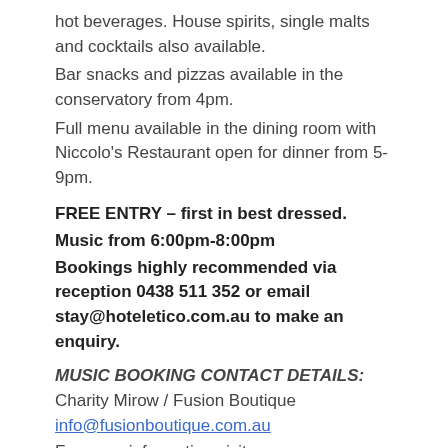hot beverages. House spirits, single malts and cocktails also available.
Bar snacks and pizzas available in the conservatory from 4pm.
Full menu available in the dining room with Niccolo's Restaurant open for dinner from 5-9pm.
FREE ENTRY – first in best dressed.
Music from 6:00pm-8:00pm
Bookings highly recommended via reception 0438 511 352 or email stay@hoteletico.com.au to make an enquiry.
MUSIC BOOKING CONTACT DETAILS: Charity Mirow / Fusion Boutique info@fusionboutique.com.au
For more information visit: www.fusionboutique.com.au
This entry was posted in Events Archive.